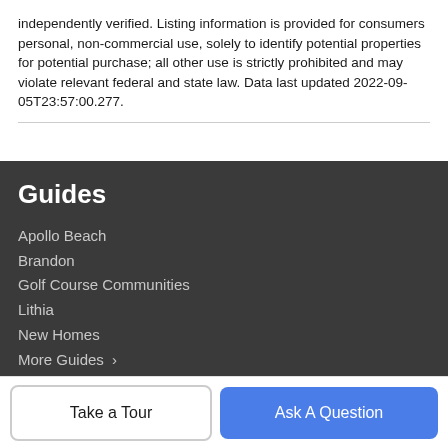independently verified. Listing information is provided for consumers personal, non-commercial use, solely to identify potential properties for potential purchase; all other use is strictly prohibited and may violate relevant federal and state law. Data last updated 2022-09-05T23:57:00.277.
Guides
Apollo Beach
Brandon
Golf Course Communities
Lithia
New Homes
More Guides ›
Company
Take a Tour
Ask A Question